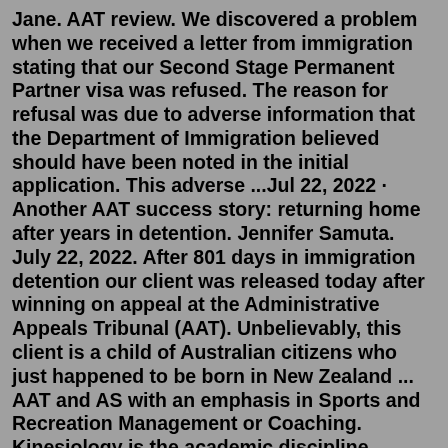Jane. AAT review. We discovered a problem when we received a letter from immigration stating that our Second Stage Permanent Partner visa was refused. The reason for refusal was due to adverse information that the Department of Immigration believed should have been noted in the initial application. This adverse ...Jul 22, 2022 · Another AAT success story: returning home after years in detention. Jennifer Samuta. July 22, 2022. After 801 days in immigration detention our client was released today after winning on appeal at the Administrative Appeals Tribunal (AAT). Unbelievably, this client is a child of Australian citizens who just happened to be born in New Zealand ... AAT and AS with an emphasis in Sports and Recreation Management or Coaching. Kinesiology is the academic discipline focusing on the study of all aspects of human movement. Programs of study at the baccalaureate level include: exercise science, sports management, allied health profession preparation, and. pursuit of a teaching credential to